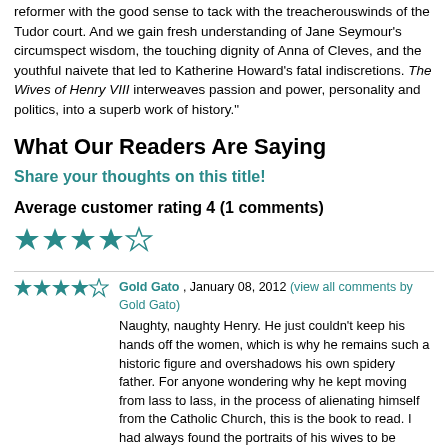reformer with the good sense to tack with the treacherouswinds of the Tudor court. And we gain fresh understanding of Jane Seymour's circumspect wisdom, the touching dignity of Anna of Cleves, and the youthful naivete that led to Katherine Howard's fatal indiscretions. The Wives of Henry VIII interweaves passion and power, personality and politics, into a superb work of history."
What Our Readers Are Saying
Share your thoughts on this title!
Average customer rating 4 (1 comments)
[Figure (other): 4 out of 5 stars rating display (large star icons)]
Gold Gato , January 08, 2012 (view all comments by Gold Gato)
Naughty, naughty Henry. He just couldn't keep his hands off the women, which is why he remains such a historic figure and overshadows his own spidery father. For anyone wondering why he kept moving from lass to lass, in the process of alienating himself from the Catholic Church, this is the book to read. I had always found the portraits of his wives to be bland, but in Fraser's hands, they really do